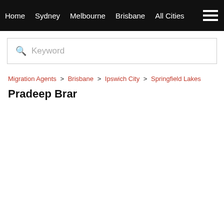Home  Sydney  Melbourne  Brisbane  All Cities
Keyword
Migration Agents > Brisbane > Ipswich City > Springfield Lakes
Pradeep Brar